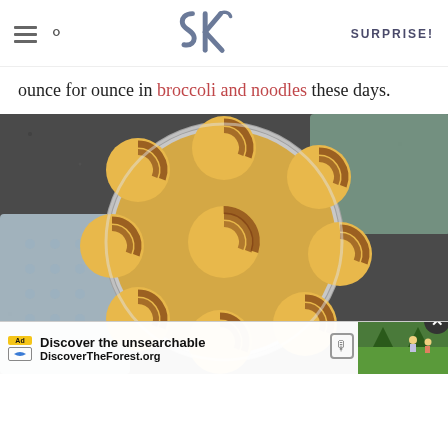SK logo with hamburger menu, search icon, and SURPRISE! navigation
ounce for ounce in broccoli and noodles these days.
[Figure (photo): Overhead view of golden-brown cinnamon rolls arranged in a round metal baking pan, placed on a dark granite surface with decorative cloths]
Ad | Discover the unsearchable | DiscoverTheForest.org